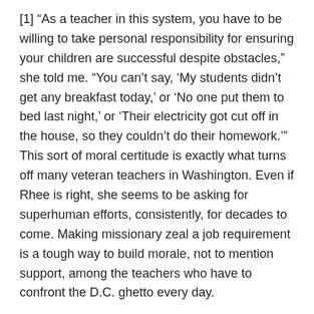[1] “As a teacher in this system, you have to be willing to take personal responsibility for ensuring your children are successful despite obstacles,” she told me. “You can’t say, ‘My students didn’t get any breakfast today,’ or ‘No one put them to bed last night,’ or ‘Their electricity got cut off in the house, so they couldn’t do their homework.’” This sort of moral certitude is exactly what turns off many veteran teachers in Washington. Even if Rhee is right, she seems to be asking for superhuman efforts, consistently, for decades to come. Making missionary zeal a job requirement is a tough way to build morale, not to mention support, among the teachers who have to confront the D.C. ghetto every day.
[2] Rhee advocates another controversial plank in the reformist agenda: merit pay. Vociferously opposed by